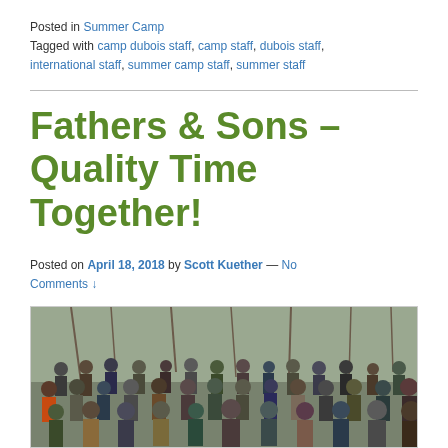Posted in Summer Camp
Tagged with camp dubois staff, camp staff, dubois staff, international staff, summer camp staff, summer staff
Fathers & Sons – Quality Time Together!
Posted on April 18, 2018 by Scott Kuether — No Comments ↓
[Figure (photo): Group photo of fathers and sons (around 30+ people) standing outdoors in a wooded area, wearing casual outdoor clothing and hats, taken in early spring with bare trees in background.]